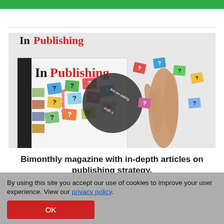[Figure (photo): InPublishing magazine cover photo showing colorful question mark cards spread on a surface, with a hand holding one, and the InPublishing logo in black and red at the top]
Bimonthly magazine with in-depth articles on publishing strategy.
By using this site you accept our use of cookies to improve your user experience. View our privacy policy.
OK